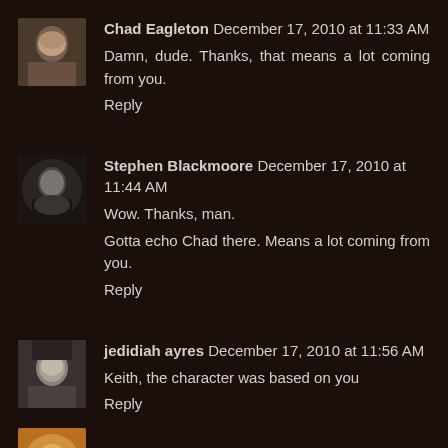[Figure (photo): Avatar photo of Chad Eagleton, a bald man]
Chad Eagleton December 17, 2010 at 11:33 AM
Damn, dude. Thanks, that means a lot coming from you.
Reply
[Figure (photo): Avatar photo of Stephen Blackmoore, dark silhouette portrait]
Stephen Blackmoore December 17, 2010 at 11:44 AM
Wow. Thanks, man.
Gotta echo Chad there. Means a lot coming from you.
Reply
[Figure (photo): Avatar photo of jedidiah ayres, black and white portrait]
jedidiah ayres December 17, 2010 at 11:56 AM
Keith, the character was based on you
Reply
[Figure (photo): Partial avatar visible at bottom of page]